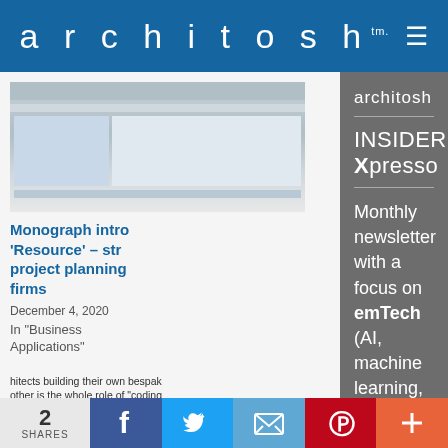architosh™
[Figure (screenshot): Thumbnail screenshot of a spreadsheet/table interface]
Monograph intro 'Resource' – str project planning firms
December 4, 2020
In "Business Applications"
hitects building their own bespak other is the whole role of "coding ld be able to build these sidebar D in computer science to build a li y specific problem.
— PdBrente
architosh
INSIDER Xpresso
Monthly newsletter with a focus on emTech (AI, machine learning, AAD, AR, robotics, 3d printing, and smart cities) its impact on CAD professionals.)
2 SHARES